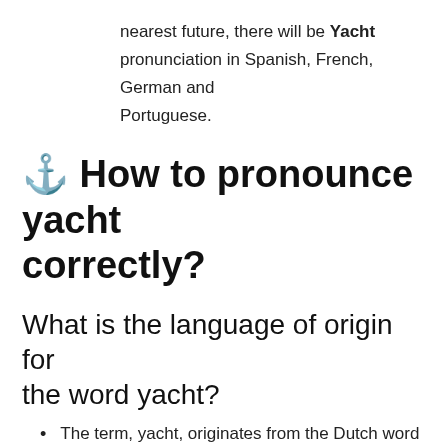nearest future, there will be Yacht pronunciation in Spanish, French, German and Portuguese.
⚓ How to pronounce yacht correctly?
What is the language of origin for the word yacht?
The term, yacht, originates from the Dutch word jacht (pl. jachten, which means "hunt"), and originally referred to light, fast sailing vessels that the Dutch Republic navy used to